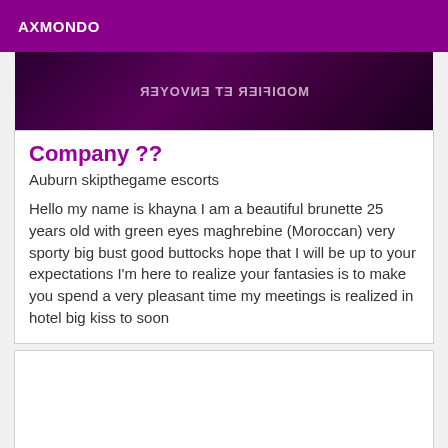AXMONDO
[Figure (screenshot): Dark purple/black image strip with mirrored text reading 'MODIFIER ET ENVOYER']
Company ??
Auburn skipthegame escorts
Hello my name is khayna I am a beautiful brunette 25 years old with green eyes maghrebine (Moroccan) very sporty big bust good buttocks hope that I will be up to your expectations I'm here to realize your fantasies is to make you spend a very pleasant time my meetings is realized in hotel big kiss to soon